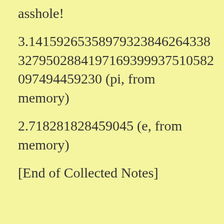asshole!
3.14159265358979323846264338 3279502884197169399375105820 97494459230 (pi, from memory)
2.718281828459045 (e, from memory)
[End of Collected Notes]